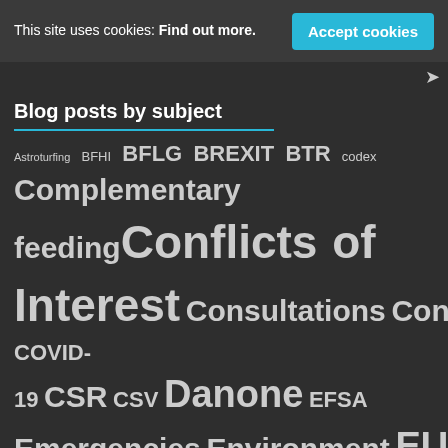This site uses cookies: Find out more. [Accept cookies button]
Blog posts by subject
Astroturfing BFHI BFLG BREXIT BTR codex Complementary feeding Conflicts of Interest Consultations Contaminants COVID-19 CSR CSV Danone EFSA Emergencies Environment EU EU legislation Food Safety Formula pricing Fortification FTSE4Good GMO History Human rights inequalities Media coverage Monitoring NCDs Nestlé Nestlé boycott Obesity Philanthrocapitalism Research Successes SUN/GAIN/ATNI/BMGF Tigers Trade rules UK violations UNHCR UNICEF water WBTi World Health Organisation